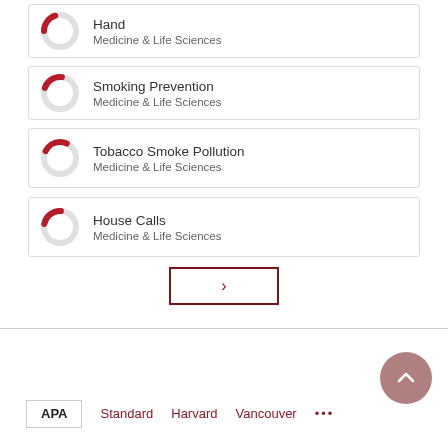Hand — Medicine & Life Sciences
Smoking Prevention — Medicine & Life Sciences
Tobacco Smoke Pollution — Medicine & Life Sciences
House Calls — Medicine & Life Sciences
[Figure (other): Next page navigation button with right chevron arrow, dark red border]
[Figure (other): Scroll-to-top circular button with upward chevron arrow, mauve/rose color]
APA  Standard  Harvard  Vancouver  ...